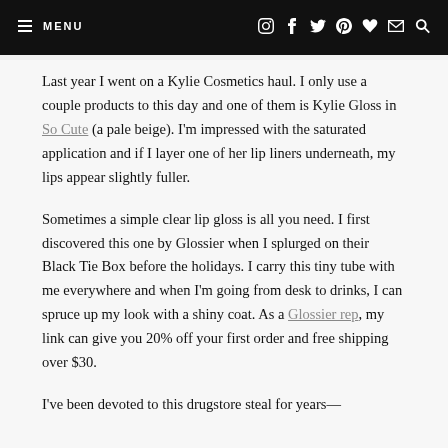≡ MENU
Last year I went on a Kylie Cosmetics haul. I only use a couple products to this day and one of them is Kylie Gloss in So Cute (a pale beige). I'm impressed with the saturated application and if I layer one of her lip liners underneath, my lips appear slightly fuller.
Sometimes a simple clear lip gloss is all you need. I first discovered this one by Glossier when I splurged on their Black Tie Box before the holidays. I carry this tiny tube with me everywhere and when I'm going from desk to drinks, I can spruce up my look with a shiny coat. As a Glossier rep, my link can give you 20% off your first order and free shipping over $30.
I've been devoted to this drugstore steal for years—